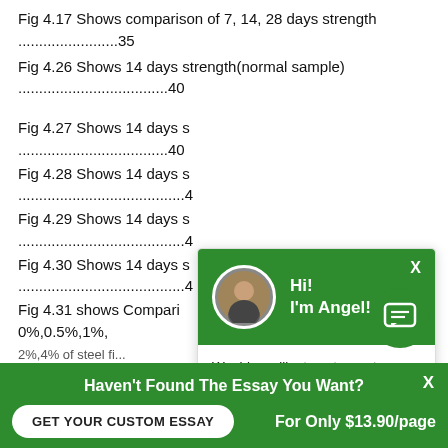Fig 4.17 Shows comparison of 7, 14, 28 days strength .................35
Fig 4.26 Shows 14 days strength(normal sample) ...................................40
Fig 4.27 Shows 14 days s... ...................................40
Fig 4.28 Shows 14 days s... .......................................4
Fig 4.29 Shows 14 days s... .......................................4
Fig 4.30 Shows 14 days s... .......................................4
Fig 4.31 shows Compari... 0%,0.5%,1%, 2%,4% of steel fi...
[Figure (screenshot): Chat popup overlay with green header showing avatar of Angel and text 'Hi! I'm Angel!', body text 'Would you like to get a custom essay? How about receiving a customized one?' with a 'Check it out' link. Also a green chat icon button at bottom right.]
Haven't Found The Essay You Want?
GET YOUR CUSTOM ESSAY
For Only $13.90/page